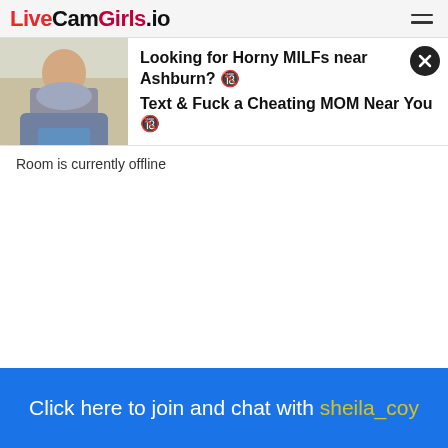LiveCamGirls.io
[Figure (advertisement): Ad banner with photo of a woman and text: Looking for Horny MILFs near Ashburn? Text & Fuck a Cheating MOM Near You]
Room is currently offline
Click here to join and chat with sheila_coy